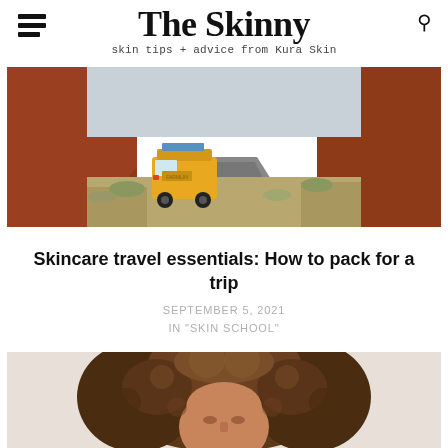The Skinny — skin tips + advice from Kura Skin
[Figure (photo): Yellow vintage VW van driving away on a desert highway flanked by red rock formations and scrubby desert vegetation]
Skincare travel essentials: How to pack for a trip
SEPTEMBER 5, 2021
IN "SKIN SCHOOL"
[Figure (photo): Close-up portrait of a woman with large natural curly hair looking up, warm skin tone, light background]